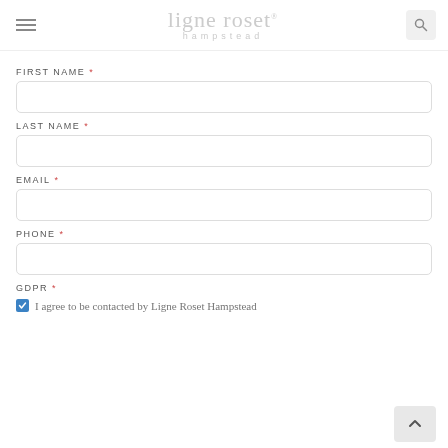ligne roset | hampstead
FIRST NAME *
LAST NAME *
EMAIL *
PHONE *
GDPR *
I agree to be contacted by Ligne Roset Hampstead